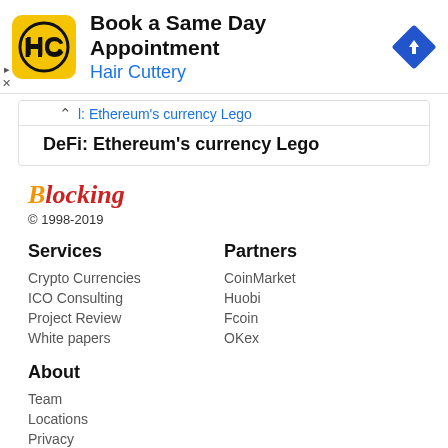[Figure (infographic): Advertisement banner for Hair Cuttery with logo, text 'Book a Same Day Appointment / Hair Cuttery', and a blue diamond navigation arrow icon]
l: Ethereum's currency Lego
DeFi: Ethereum's currency Lego
[Figure (logo): Blocking logo - stylized italic text with orange B and red 'locking']
© 1998-2019
Services
Partners
Crypto Currencies
CoinMarket
ICO Consulting
Huobi
Project Review
Fcoin
White papers
OKex
About
Team
Locations
Privacy